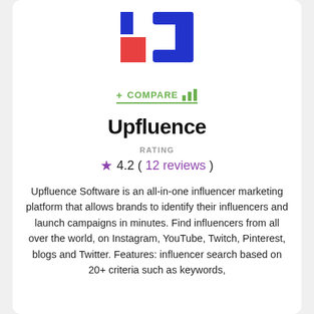[Figure (logo): Upfluence logo: blue letter-like shapes with a red square accent on left side]
+ COMPARE [bar chart icon]
Upfluence
RATING
★ 4.2 ( 12 reviews )
Upfluence Software is an all-in-one influencer marketing platform that allows brands to identify their influencers and launch campaigns in minutes. Find influencers from all over the world, on Instagram, YouTube, Twitch, Pinterest, blogs and Twitter. Features: influencer search based on 20+ criteria such as keywords,